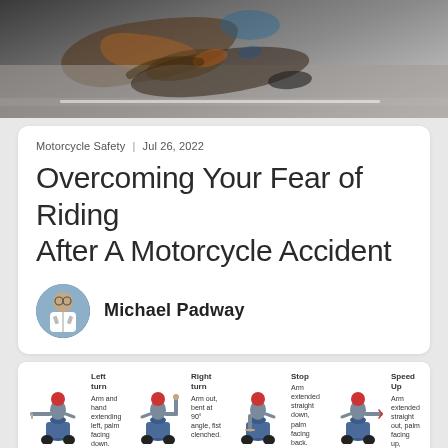[Figure (photo): Close-up photo of a motorcycle accident scene on pavement, showing a fallen motorcycle rider on the road surface]
Motorcycle Safety | Jul 26, 2022
Overcoming Your Fear of Riding After A Motorcycle Accident
Michael Padway
[Figure (infographic): Motorcycle hand signal infographic showing four signals: Left turn (arm and hand extending left, palm facing down), Right turn (arm out, bent at 90° angle, fist clenched), Stop (arm extended straight down, palm facing back), Speed Up (arm extended straight out, palm facing up, waving upward)]
[Figure (infographic): Continuation of motorcycle hand signal infographic (partially visible, faded): Slow Down, Follow Me, You Lead Come, Hazards Ahead]